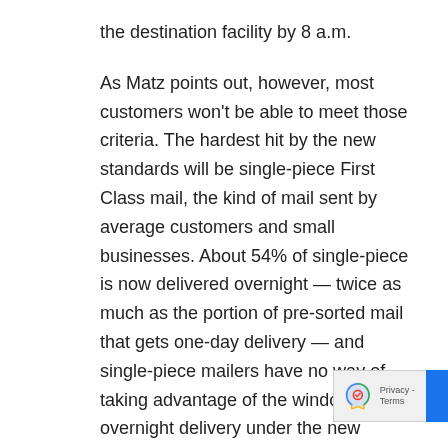the destination facility by 8 a.m.
As Matz points out, however, most customers won't be able to meet those criteria. The hardest hit by the new standards will be single-piece First Class mail, the kind of mail sent by average customers and small businesses. About 54% of single-piece is now delivered overnight — twice as much as the portion of pre-sorted mail that gets one-day delivery — and single-piece mailers have no way of taking advantage of the window for overnight delivery under the new system.
Matz describes a way to maintain overnight standards for a significant portion of the mail — what's called "turnaround" or "Intra-SCF" mail. That's mail that both originates from and destinates to the 3-digit ZIPs